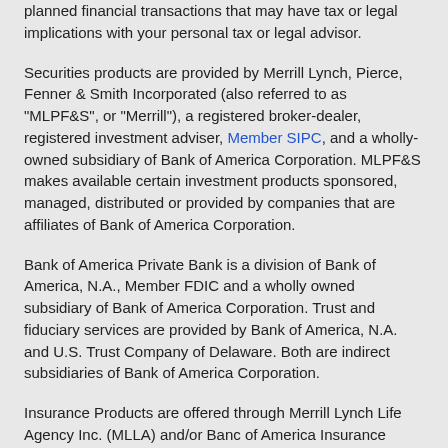planned financial transactions that may have tax or legal implications with your personal tax or legal advisor.
Securities products are provided by Merrill Lynch, Pierce, Fenner & Smith Incorporated (also referred to as "MLPF&S", or "Merrill"), a registered broker-dealer, registered investment adviser, Member SIPC, and a wholly-owned subsidiary of Bank of America Corporation. MLPF&S makes available certain investment products sponsored, managed, distributed or provided by companies that are affiliates of Bank of America Corporation.
Bank of America Private Bank is a division of Bank of America, N.A., Member FDIC and a wholly owned subsidiary of Bank of America Corporation. Trust and fiduciary services are provided by Bank of America, N.A. and U.S. Trust Company of Delaware. Both are indirect subsidiaries of Bank of America Corporation.
Insurance Products are offered through Merrill Lynch Life Agency Inc. (MLLA) and/or Banc of America Insurance Services, Inc., both of which are licensed insurance agencies and wholly-owned subsidiaries of Bank of America Corporation.
Banking, credit card, automobile loans, mortgage and home equity